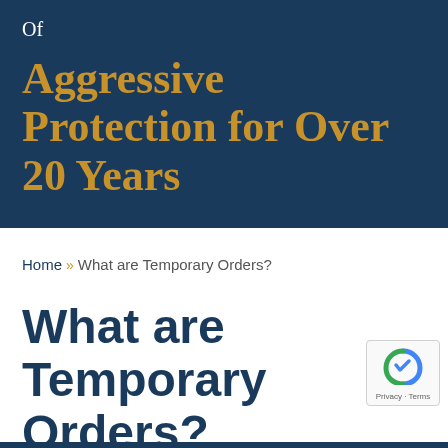Of
Aggressive Protection for Over 20 Years
Home » What are Temporary Orders?
What are Temporary Orders?